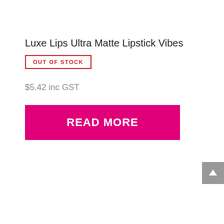Luxe Lips Ultra Matte Lipstick Vibes
OUT OF STOCK
$5.42 inc GST
READ MORE